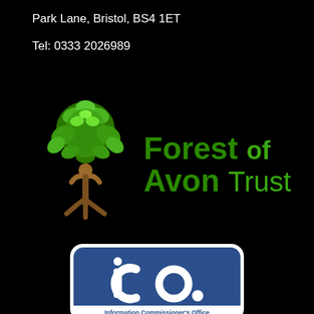Park Lane, Bristol, BS4 1ET
Tel: 0333 2026989
[Figure (logo): Forest of Avon Trust logo — stylized tree with green leaf canopy and brown trunk/person figure, with 'Forest of Avon Trust' text in green]
[Figure (logo): ICO – Information Commissioner's Office logo badge, dark blue rounded rectangle with white 'ico.' text and 'Information Commissioner's Office' underneath]